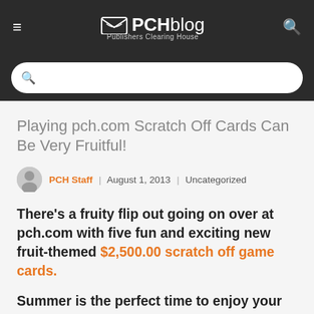PCHblog Publishers Clearing House
Playing pch.com Scratch Off Cards Can Be Very Fruitful!
PCH Staff | August 1, 2013 | Uncategorized
There's a fruity flip out going on over at pch.com with five fun and exciting new fruit-themed $2,500.00 scratch off game cards.
Summer is the perfect time to enjoy your favorite fruit.  And you can go Plum Crazy with fun as you try to scratch your way to a big prize